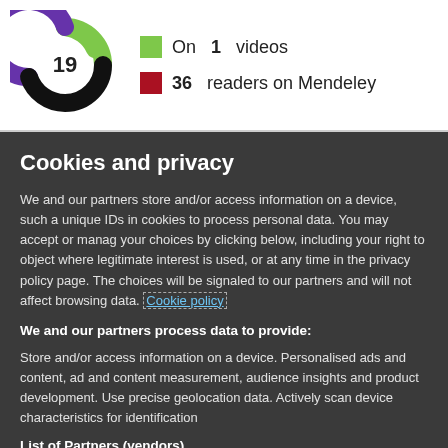[Figure (logo): Circular logo with purple, green, and black swirl design, number 19 in center white circle]
On 1 videos
36 readers on Mendeley
Cookies and privacy
We and our partners store and/or access information on a device, such a unique IDs in cookies to process personal data. You may accept or manag your choices by clicking below, including your right to object where legitimate interest is used, or at any time in the privacy policy page. The choices will be signaled to our partners and will not affect browsing data. Cookie policy
We and our partners process data to provide:
Store and/or access information on a device. Personalised ads and content, ad and content measurement, audience insights and product development. Use precise geolocation data. Actively scan device characteristics for identification
List of Partners (vendors)
I Accept